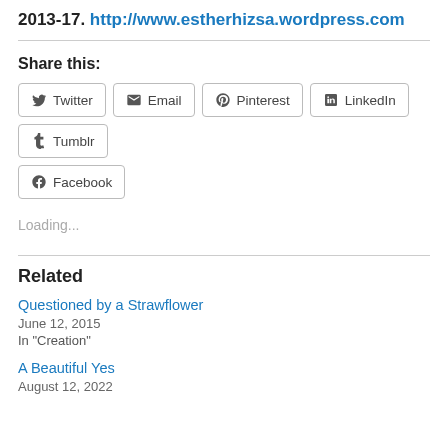2013-17.  http://www.estherhizsa.wordpress.com
Share this:
[Figure (other): Social share buttons: Twitter, Email, Pinterest, LinkedIn, Tumblr, Facebook]
Loading...
Related
Questioned by a Strawflower
June 12, 2015
In "Creation"
A Beautiful Yes
August 12, 2022